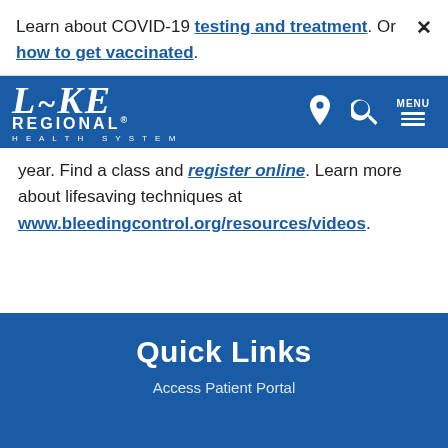Learn about COVID-19 testing and treatment. Or how to get vaccinated.
[Figure (logo): Lake Regional Health System logo — white text on blue background with wave graphic]
year. Find a class and register online. Learn more about lifesaving techniques at www.bleedingcontrol.org/resources/videos.
Quick Links